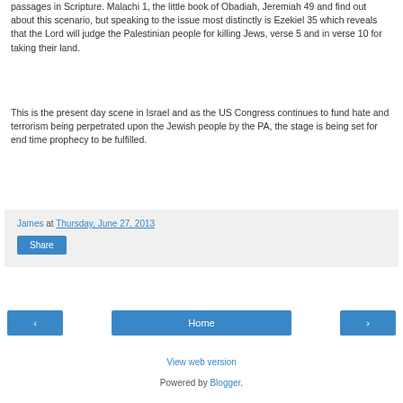passages in Scripture. Malachi 1, the little book of Obadiah, Jeremiah 49 and find out about this scenario, but speaking to the issue most distinctly is Ezekiel 35 which reveals that the Lord will judge the Palestinian people for killing Jews, verse 5 and in verse 10 for taking their land.
This is the present day scene in Israel and as the US Congress continues to fund hate and terrorism being perpetrated upon the Jewish people by the PA, the stage is being set for end time prophecy to be fulfilled.
James at Thursday, June 27, 2013
Share
‹ Home › View web version Powered by Blogger.